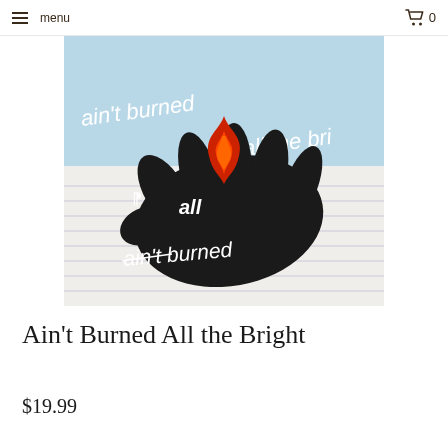menu  0
[Figure (illustration): Album cover for 'Ain't Burned All the Bright' — a black gloved hand holding a red flame against a light-blue background with handwritten chalk-style text 'ain't burned all the bri...' visible, overlaid on lined notebook paper with additional handwritten text 'aint burned' and 'ain't burned']
Ain't Burned All the Bright
$19.99